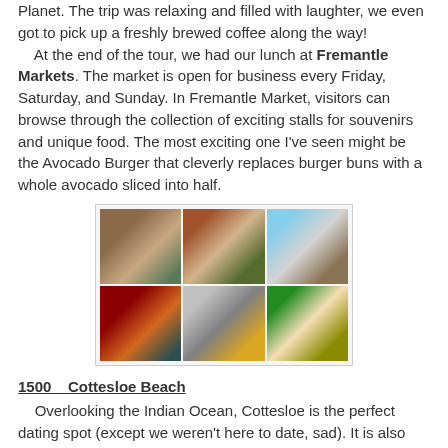Planet. The trip was relaxing and filled with laughter, we even got to pick up a freshly brewed coffee along the way! At the end of the tour, we had our lunch at Fremantle Markets. The market is open for business every Friday, Saturday, and Sunday. In Fremantle Market, visitors can browse through the collection of exciting stalls for souvenirs and unique food. The most exciting one I've seen might be the Avocado Burger that cleverly replaces burger buns with a whole avocado sliced into half.
[Figure (photo): Collage of six photos from Fremantle Markets: people at market, coffee cup, street scene, $10 signs on brick wall, crowded market interior, avocado burger]
1500    Cottesloe Beach
Overlooking the Indian Ocean, Cottesloe is the perfect dating spot (except we weren't here to date, sad). It is also internationally famous an annual fortnight-event called